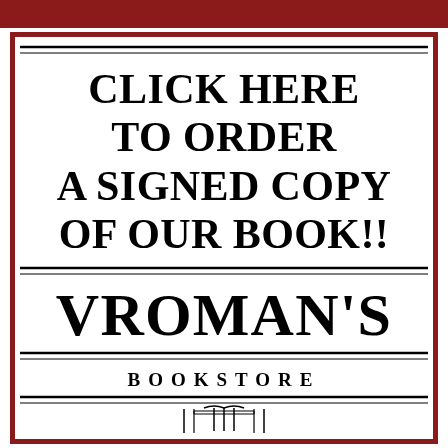[Figure (logo): Vroman's Bookstore advertisement banner with dark red border, double rule lines, large bold text reading 'CLICK HERE TO ORDER A SIGNED COPY OF OUR BOOK!!', 'VROMAN'S', 'BOOKSTORE', and a small book/logo icon at the bottom]
CLICK HERE TO ORDER A SIGNED COPY OF OUR BOOK!!
VROMAN'S
BOOKSTORE